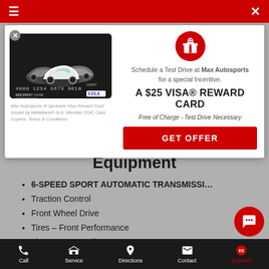≡  ✕
[Figure (screenshot): Max Autosports Visa debit card image showing card number 4000 1234 5678 9010, with car silhouettes and VISA logo]
Max Autosports of Spokane Visa Reward Card issued by MetaBank® N.A. Member FDIC Card Expires. Terms & Conditions
Schedule a Test Drive at Max Autosports for a special Incentive.
A $25 VISA® REWARD CARD
Free of Charge - Test Drive Necessary
GET OFFER
Equipment
6-SPEED SPORT AUTOMATIC TRANSMISSI…
Traction Control
Front Wheel Drive
Tires – Front Performance
Tires – Rear Performance
Temporary Spare Tire
Call  Service  Directions  Contact  Español